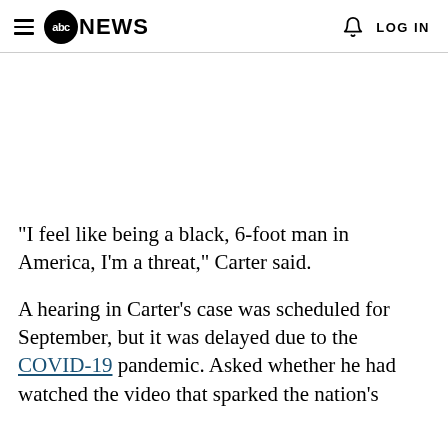abc NEWS  LOG IN
"I feel like being a black, 6-foot man in America, I'm a threat," Carter said.
A hearing in Carter's case was scheduled for September, but it was delayed due to the COVID-19 pandemic. Asked whether he had watched the video that sparked the nation's